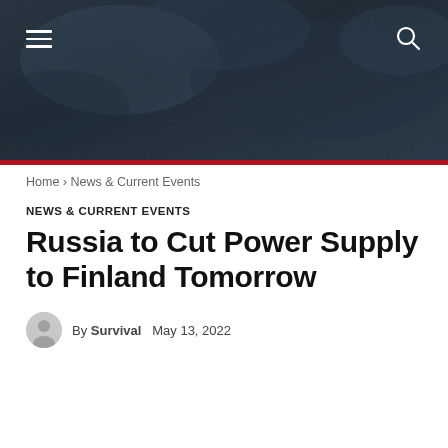[Figure (photo): Dark blue-grey textured banner header with forest/tree background, hamburger menu icon on left, search icon on right, red accent bar at bottom]
Home › News & Current Events
NEWS & CURRENT EVENTS
Russia to Cut Power Supply to Finland Tomorrow
By Survival   May 13, 2022